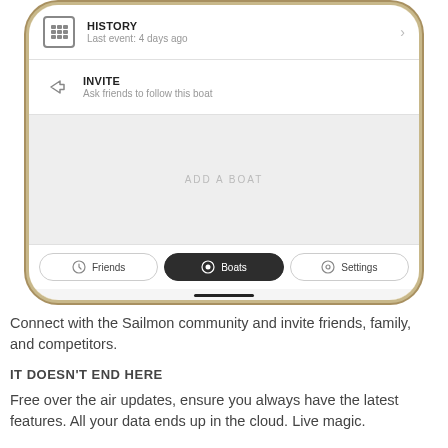[Figure (screenshot): Mobile phone screenshot showing a sailing app UI with HISTORY menu item (Last event: 4 days ago), INVITE menu item (Ask friends to follow this boat), a gray empty area with ADD A BOAT button, and a tab bar with Friends, Boats (selected/active), and Settings tabs]
Connect with the Sailmon community and invite friends, family, and competitors.
IT DOESN'T END HERE
Free over the air updates, ensure you always have the latest features. All your data ends up in the cloud. Live magic.